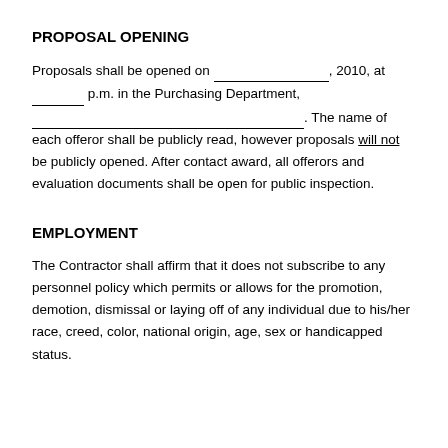PROPOSAL OPENING
Proposals shall be opened on ___________________, 2010, at ________ p.m. in the Purchasing Department, ___________________________________________. The name of each offeror shall be publicly read, however proposals will not be publicly opened. After contact award, all offerors and evaluation documents shall be open for public inspection.
EMPLOYMENT
The Contractor shall affirm that it does not subscribe to any personnel policy which permits or allows for the promotion, demotion, dismissal or laying off of any individual due to his/her race, creed, color, national origin, age, sex or handicapped status.